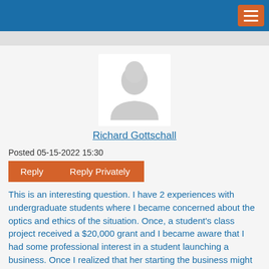[Figure (photo): Generic placeholder avatar silhouette of a person, light gray on white background]
Richard Gottschall
Posted 05-15-2022 15:30
Reply   Reply Privately
This is an interesting question. I have 2 experiences with undergraduate students where I became concerned about the optics and ethics of the situation. Once, a student's class project received a $20,000 grant and I became aware that I had some professional interest in a student launching a business. Once I realized that her starting the business might reflect well on me and our program, I felt I had lost the objectivity to properly advise her, which was my primary obligation. Later, a colleague and I wanted to help a student